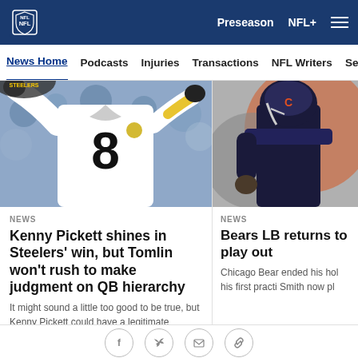NFL - News Home | Podcasts | Injuries | Transactions | NFL Writers
[Figure (photo): Kenny Pickett #8 in white Steelers jersey with arms raised]
NEWS
Kenny Pickett shines in Steelers' win, but Tomlin won't rush to make judgment on QB hierarchy
It might sound a little too good to be true, but Kenny Pickett could have a legitimate chance to win the starting job in Pittsburgh. Just
[Figure (photo): Chicago Bears LB returning from holdout at practice]
NEWS
Bears LB returns to play out
Chicago Bears ended his hol his first practi Smith now pl